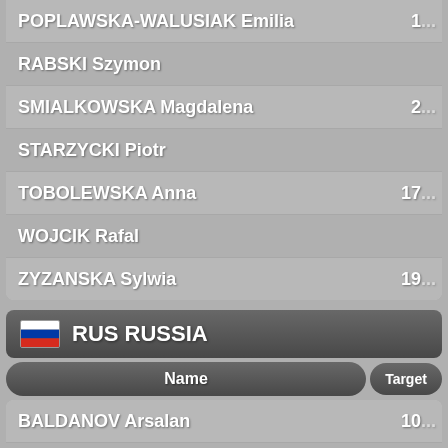| Name | Target |
| --- | --- |
| POPLAWSKA-WALUSIAK Emilia | 1... |
| RABSKI Szymon |  |
| SMIALKOWSKA Magdalena | 2... |
| STARZYCKI Piotr |  |
| TOBOLEWSKA Anna | 17... |
| WOJCIK Rafal |  |
| ZYZANSKA Sylwia | 19... |
RUS RUSSIA
| Name | Target |
| --- | --- |
| BALDANOV Arsalan | 10... |
| BALDANOVA Tse-Dulma | 22... |
| BUDAEV Sodnom |  |
| DAMBAEVA Zhibzema | 23... |
| DASHIDORZHIEVA Tuyana | 24... |
| GOMBOZHAPOV Aldar |  |
| IRDYNEEV Erdem | 10... |